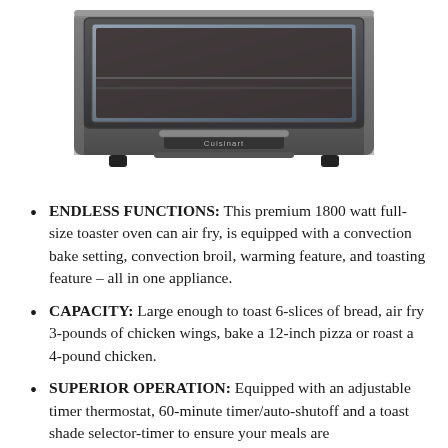[Figure (photo): Cuisinart toaster oven / air fryer appliance shown from the front, stainless steel finish, viewed slightly from below, on a white background.]
ENDLESS FUNCTIONS: This premium 1800 watt full-size toaster oven can air fry, is equipped with a convection bake setting, convection broil, warming feature, and toasting feature – all in one appliance.
CAPACITY: Large enough to toast 6-slices of bread, air fry 3-pounds of chicken wings, bake a 12-inch pizza or roast a 4-pound chicken.
SUPERIOR OPERATION: Equipped with an adjustable timer thermostat, 60-minute timer/auto-shutoff and a toast shade selector-timer to ensure your meals are